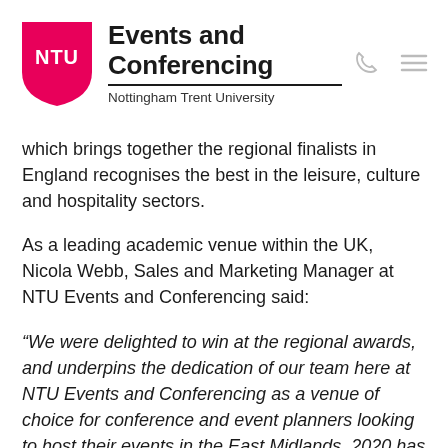[Figure (logo): NTU shield logo in pink/magenta with white NTU text, alongside 'Events and Conferencing / Nottingham Trent University' branding, and phone and hamburger menu icons]
which brings together the regional finalists in England recognises the best in the leisure, culture and hospitality sectors.
As a leading academic venue within the UK, Nicola Webb, Sales and Marketing Manager at NTU Events and Conferencing said:
“We were delighted to win at the regional awards, and underpins the dedication of our team here at NTU Events and Conferencing as a venue of choice for conference and event planners looking to host their events in the East Midlands. 2020 has been a challenging time for the hospitality industry, and as we look to return to hosting events and…